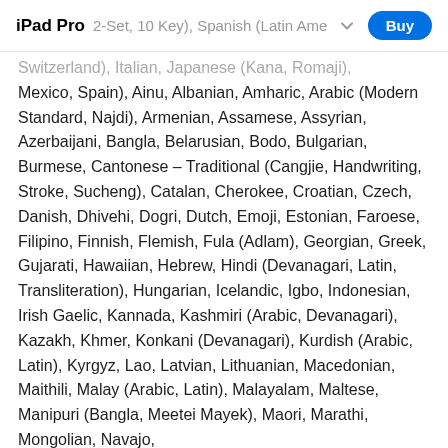iPad Pro | 2-Set, 10 Key), Spanish (Latin Ame... | Buy
Switzerland), Italian, Japanese (Kana, Romaji), (2-Set, 10 Key), Spanish (Latin America, Mexico, Spain), Ainu, Albanian, Amharic, Arabic (Modern Standard, Najdi), Armenian, Assamese, Assyrian, Azerbaijani, Bangla, Belarusian, Bodo, Bulgarian, Burmese, Cantonese – Traditional (Cangjie, Handwriting, Stroke, Sucheng), Catalan, Cherokee, Croatian, Czech, Danish, Dhivehi, Dogri, Dutch, Emoji, Estonian, Faroese, Filipino, Finnish, Flemish, Fula (Adlam), Georgian, Greek, Gujarati, Hawaiian, Hebrew, Hindi (Devanagari, Latin, Transliteration), Hungarian, Icelandic, Igbo, Indonesian, Irish Gaelic, Kannada, Kashmiri (Arabic, Devanagari), Kazakh, Khmer, Konkani (Devanagari), Kurdish (Arabic, Latin), Kyrgyz, Lao, Latvian, Lithuanian, Macedonian, Maithili, Malay (Arabic, Latin), Malayalam, Maltese, Manipuri (Bangla, Meetei Mayek), Maori, Marathi, Mongolian, Navajo, Nepali, Norwegian (Bokmål, Nynorsk), Odia